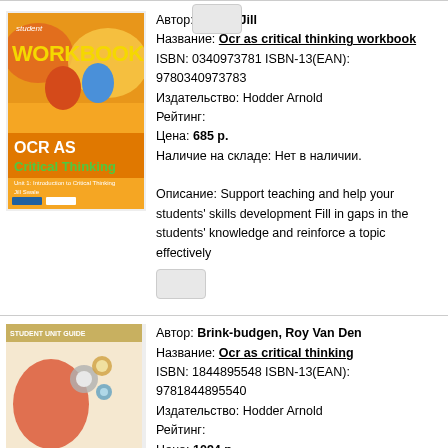[Figure (illustration): Book cover: OCR AS Critical Thinking Student Workbook, Unit 1 Introduction to Critical Thinking]
Автор: Swale, Jill
Название: Ocr as critical thinking workbook
ISBN: 0340973781 ISBN-13(EAN): 9780340973783
Издательство: Hodder Arnold
Рейтинг:
Цена: 685 р.
Наличие на складе: Нет в наличии.

Описание: Support teaching and help your students' skills development Fill in gaps in the students' knowledge and reinforce a topic effectively
[Figure (illustration): Book cover: OCR AS Critical Thinking, F502 Student Unit Guide]
Автор: Brink-budgen, Roy Van Den
Название: Ocr as critical thinking
ISBN: 1844895548 ISBN-13(EAN): 9781844895540
Издательство: Hodder Arnold
Рейтинг:
Цена: 1094 р.
Наличие на складе: Нет в наличии.